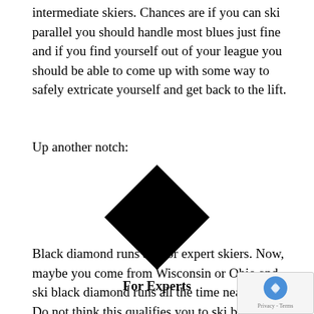intermediate skiers. Chances are if you can ski parallel you should handle most blues just fine and if you find yourself out of your league you should be able to come up with some way to safely extricate yourself and get back to the lift.
Up another notch:
[Figure (illustration): A large black diamond shape (rotated square), the symbol used for expert ski runs, centered on the page.]
For Experts
Black diamond runs are for expert skiers. Now, maybe you come from Wisconsin or Ohio and ski black diamond runs all the time near home. Do not think this qualifies you to ski black diamond runs out west or out east. Think of signs of grading the runs on a curve, where the most